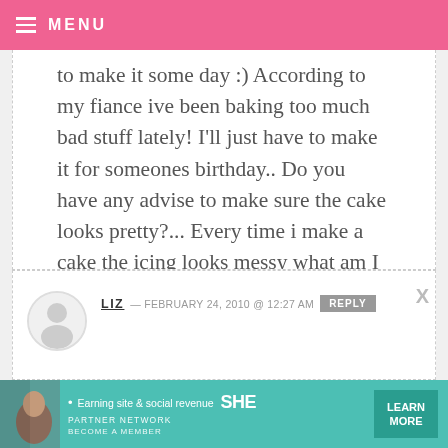MENU
to make it some day :) According to my fiance ive been baking too much bad stuff lately! I'll just have to make it for someones birthday.. Do you have any advise to make sure the cake looks pretty?... Every time i make a cake the icing looks messy what am I doing wrong?
LIZ — FEBRUARY 24, 2010 @ 12:27 AM  REPLY
[Figure (screenshot): Advertisement banner: SHE Partner Network — Earning site & social revenue. LEARN MORE button on teal background.]